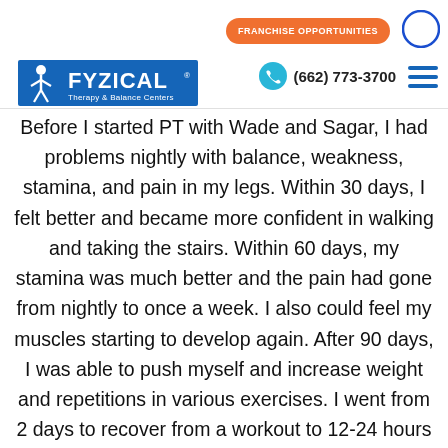FRANCHISE OPPORTUNITIES | (662) 773-3700 | FYZICAL Therapy & Balance Centers
Before I started PT with Wade and Sagar, I had problems nightly with balance, weakness, stamina, and pain in my legs. Within 30 days, I felt better and became more confident in walking and taking the stairs. Within 60 days, my stamina was much better and the pain had gone from nightly to once a week. I also could feel my muscles starting to develop again. After 90 days, I was able to push myself and increase weight and repetitions in various exercises. I went from 2 days to recover from a workout to 12-24 hours